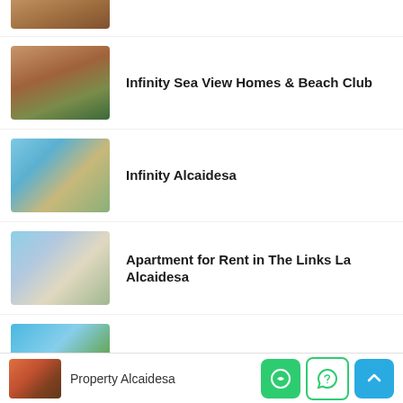[Figure (photo): Partial view of a property thumbnail at the top of the list]
Infinity Sea View Homes & Beach Club
[Figure (photo): Aerial view of Infinity Sea View Homes & Beach Club property]
Infinity Alcaidesa
[Figure (photo): Pool and sea view of Infinity Alcaidesa property]
Apartment for Rent in The Links La Alcaidesa
[Figure (photo): Coastal rocky view for The Links La Alcaidesa]
Serenity Alcaidesa
[Figure (photo): Sea and golf course view for Serenity Alcaidesa]
Property Alcaidesa